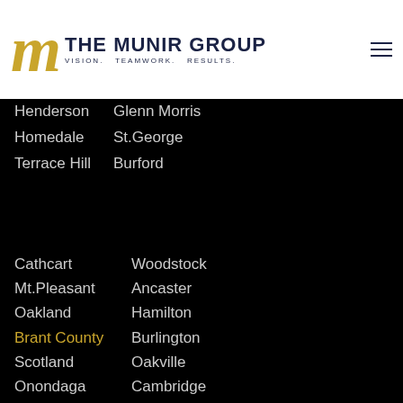The Munir Group — Vision. Teamwork. Results.
Henderson   Glenn Morris
Homedale   St.George
Terrace Hill   Burford
Cathcart   Woodstock
Mt.Pleasant   Ancaster
Oakland   Hamilton
Brant County   Burlington
Scotland   Oakville
Onondaga   Cambridge
Waterford   Kitchener
Simcoe   Waterloo
Address
16 Borden St.
Brantford, ON N3R 000